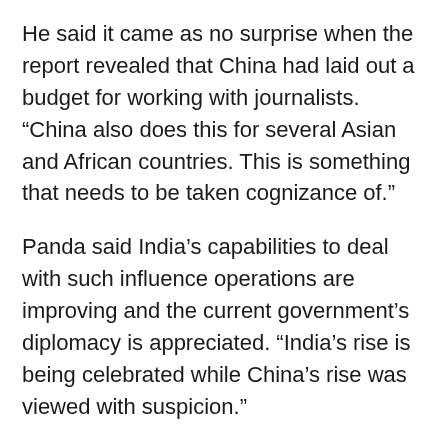He said it came as no surprise when the report revealed that China had laid out a budget for working with journalists. “China also does this for several Asian and African countries. This is something that needs to be taken cognizance of.”
Panda said India’s capabilities to deal with such influence operations are improving and the current government’s diplomacy is appreciated. “India’s rise is being celebrated while China’s rise was viewed with suspicion.”
The Law and Society Alliance’s report was first brought out in English a year ago, making India’s security apparatus to take note of its contents, and the strategic affairs community worldwide to